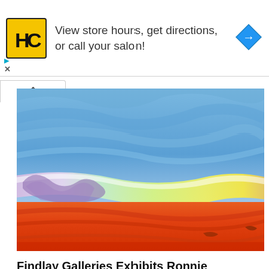[Figure (other): Ad banner: HC logo (yellow square with HC letters), text 'View store hours, get directions, or call your salon!', blue diamond navigation arrow icon on right]
[Figure (illustration): Abstract colorful painting by Ronnie Landfield showing a sky with blue swirling brushstrokes at top, a rainbow-colored band of white, purple, green, yellow in the middle, and vibrant orange-red landscape at the bottom]
Findlay Galleries Exhibits Ronnie Landfield's Most Recent Works